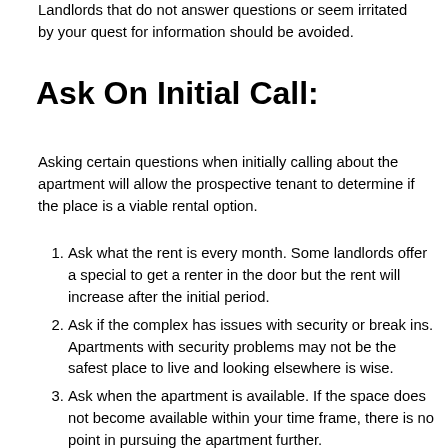Landlords that do not answer questions or seem irritated by your quest for information should be avoided.
Ask On Initial Call:
Asking certain questions when initially calling about the apartment will allow the prospective tenant to determine if the place is a viable rental option.
Ask what the rent is every month. Some landlords offer a special to get a renter in the door but the rent will increase after the initial period.
Ask if the complex has issues with security or break ins. Apartments with security problems may not be the safest place to live and looking elsewhere is wise.
Ask when the apartment is available. If the space does not become available within your time frame, there is no point in pursuing the apartment further.